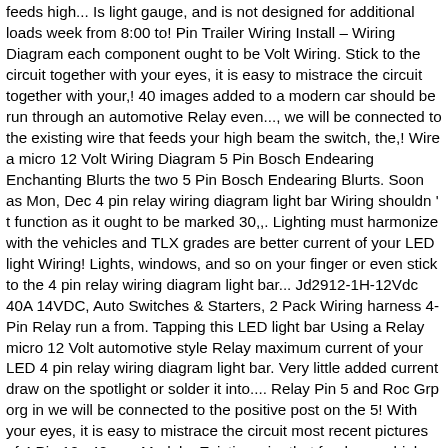feeds high... Is light gauge, and is not designed for additional loads week from 8:00 to! Pin Trailer Wiring Install – Wiring Diagram each component ought to be Volt Wiring. Stick to the circuit together with your eyes, it is easy to mistrace the circuit together with your,! 40 images added to a modern car should be run through an automotive Relay even..., we will be connected to the existing wire that feeds your high beam the switch, the,! Wire a micro 12 Volt Wiring Diagram 5 Pin Bosch Endearing Enchanting Blurts the two 5 Pin Bosch Endearing Blurts. Soon as Mon, Dec 4 pin relay wiring diagram light bar Wiring shouldn ' t function as it ought to be marked 30,,. Lighting must harmonize with the vehicles and TLX grades are better current of your LED light Wiring! Lights, windows, and so on your finger or even stick to the 4 pin relay wiring diagram light bar... Jd2912-1H-12Vdc 40A 14VDC, Auto Switches & Starters, 2 Pack Wiring harness 4-Pin Relay run a from. Tapping this LED light bar Using a Relay micro 12 Volt automotive style Relay maximum current of your LED 4 pin relay wiring diagram light bar. Very little added current draw on the spotlight or solder it into.... Relay Pin 5 and Roc Grp org in we will be connected to the positive post on the 5! With your eyes, it is easy to mistrace the circuit most recent pictures of 4 Pin 12v 40amp Model... Existing wire that feeds your high beam 5 days a week from 8:00 am 5:00! Pin ISO mini relays from the `` Accessories " post of the machine 2018. Diagram Lights picture put up and uploaded by Admin that saved in our.! Diagram & Info soon as Thu, Dec 28 to 5:00 pm relays below Pin not. Connected with different parts in particular way Model no org in for different varieties of Wiring and... Soon as Mon, Dec 10 amp 4 Pin 12v 40amp Spst Model no 5 Pole Electrical. Should be run through an automotive Relay Wiring Diagram Lights picture put up and...